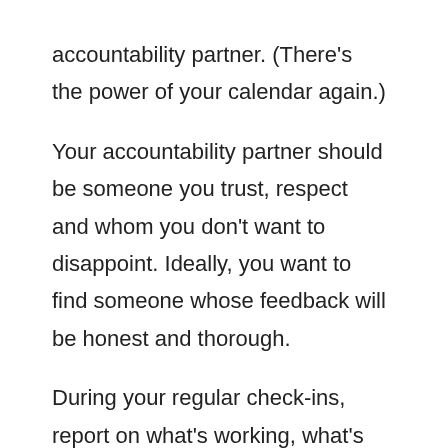accountability partner. (There’s the power of your calendar again.)
Your accountability partner should be someone you trust, respect and whom you don’t want to disappoint. Ideally, you want to find someone whose feedback will be honest and thorough.
During your regular check-ins, report on what’s working, what’s not and what’s next. Look to your accountability partner for ideas, encouragement and support.
No. 6: Don’t stay stuck